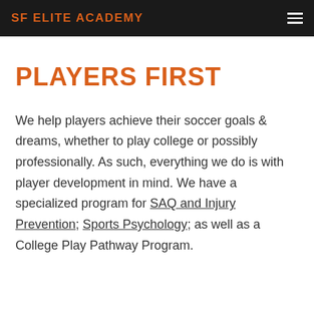SF ELITE ACADEMY
PLAYERS FIRST
We help players achieve their soccer goals & dreams, whether to play college or possibly professionally. As such, everything we do is with player development in mind. We have a specialized program for SAQ and Injury Prevention; Sports Psychology; as well as a College Play Pathway Program.